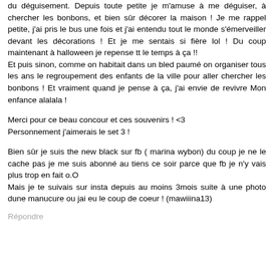du déguisement. Depuis toute petite je m'amuse à me déguiser, à chercher les bonbons, et bien sûr décorer la maison ! Je me rappel petite, j'ai pris le bus une fois et j'ai entendu tout le monde s'émerveiller devant les décorations ! Et je me sentais si fière lol ! Du coup maintenant à halloween je repense tt le temps à ça !!
Et puis sinon, comme on habitait dans un bled paumé on organiser tous les ans le regroupement des enfants de la ville pour aller chercher les bonbons ! Et vraiment quand je pense à ça, j'ai envie de revivre Mon enfance alalala !
Merci pour ce beau concour et ces souvenirs ! <3
Personnement j'aimerais le set 3 !
Bien sûr je suis the new black sur fb ( marina wybon) du coup je ne le cache pas je me suis abonné au tiens ce soir parce que fb je n'y vais plus trop en fait o.O
Mais je te suivais sur insta depuis au moins 3mois suite à une photo dune manucure ou jai eu le coup de coeur ! (mawiiina13)
Répondre